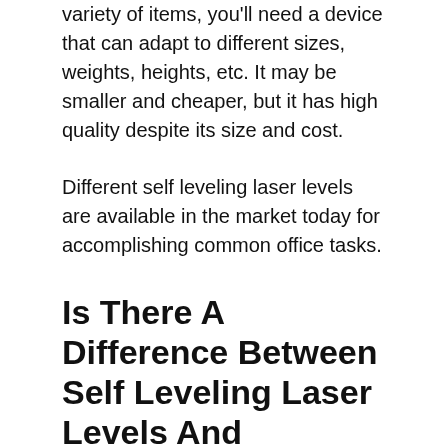variety of items, you'll need a device that can adapt to different sizes, weights, heights, etc. It may be smaller and cheaper, but it has high quality despite its size and cost.
Different self leveling laser levels are available in the market today for accomplishing common office tasks.
Is There A Difference Between Self Leveling Laser Levels And Phrases?
Consider your intentions when choosing a self leveling laser level type. The small size of